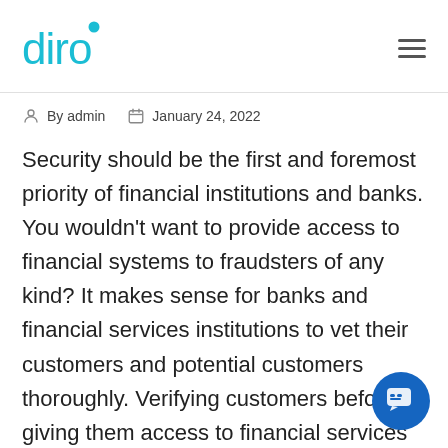[Figure (logo): Diro logo in teal/cyan color with a circular dot above the letter i]
By admin  January 24, 2022
Security should be the first and foremost priority of financial institutions and banks. You wouldn't want to provide access to financial systems to fraudsters of any kind? It makes sense for banks and financial services institutions to vet their customers and potential customers thoroughly. Verifying customers before giving them access to financial services is crucial. This is needed to prevent money laundering, embezzlement, account takeover fraud, and all types of fraud.